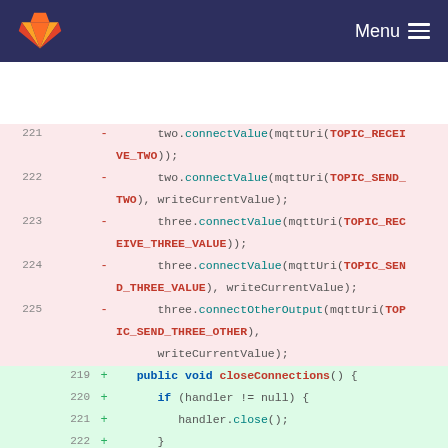GitLab Menu
[Figure (screenshot): Code diff view showing removed lines (pink background, lines 221-225) and added lines (green background, lines 219-222). Removed lines show connectValue and connectOtherOutput calls; added lines show public void closeConnections method with handler null checks.]